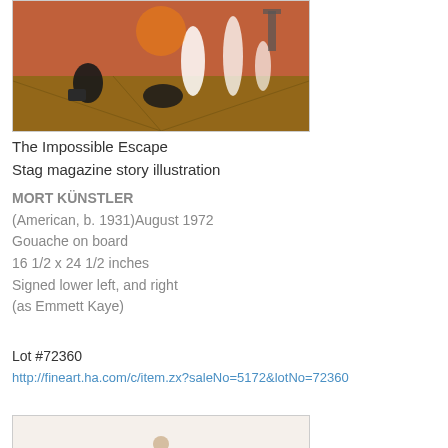[Figure (illustration): Painting showing a dramatic escape scene on a dock or pier with an orange/red sky background, figures in action poses, and water spouts or explosions. Artwork titled 'The Impossible Escape', Stag magazine story illustration.]
The Impossible Escape
Stag magazine story illustration
MORT KÜNSTLER
(American, b. 1931)August 1972
Gouache on board
16 1/2 x 24 1/2 inches
Signed lower left, and right
(as Emmett Kaye)
Lot #72360
http://fineart.ha.com/c/item.zx?saleNo=5172&lotNo=72360
[Figure (illustration): Partial view of another artwork showing a light/cream background with a partial figure visible.]